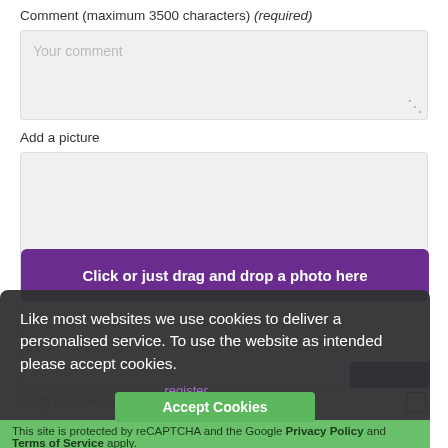Comment (maximum 3500 characters) (required)
[Figure (screenshot): Text area input box with placeholder text 'Your comment' and resize handle]
Add a picture
[Figure (screenshot): File upload area with purple 'Click or just drag and drop a photo here' button]
Notify me when someone makes a comment
Like most websites we use cookies to deliver a personalised service. To use the website as intended please accept cookies.
register
Accept Cookies
This site is protected by reCAPTCHA and the Google Privacy Policy and Terms of Service apply.